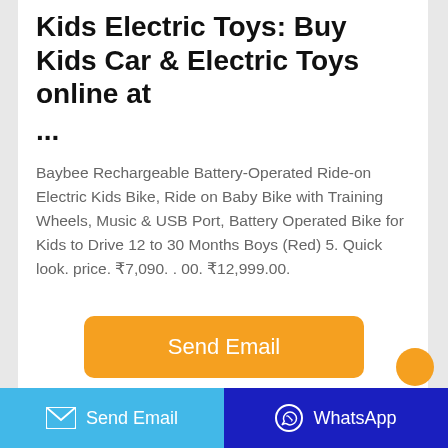Kids Electric Toys: Buy Kids Car & Electric Toys online at ...
Baybee Rechargeable Battery-Operated Ride-on Electric Kids Bike, Ride on Baby Bike with Training Wheels, Music & USB Port, Battery Operated Bike for Kids to Drive 12 to 30 Months Boys (Red) 5. Quick look. price. ₹7,090. . 00. ₹12,999.00.
Send Email
Send Email
WhatsApp